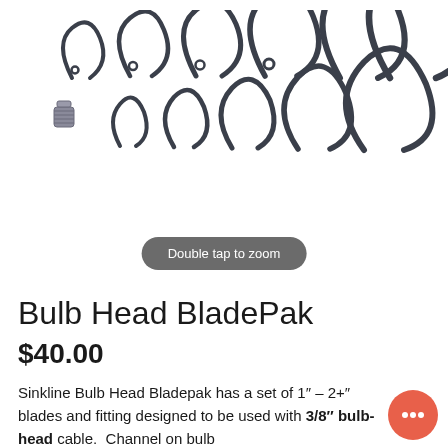[Figure (photo): Product photo showing a set of metal bulb-head blade clips/clamps in various sizes arranged on a white background, along with a small metal fitting/bolt. The clips are dark gunmetal colored C-shaped metal pieces with holes.]
Double tap to zoom
Bulb Head BladePak
$40.00
Sinkline Bulb Head Bladepak has a set of 1″ – 2+″ blades and fitting designed to be used with 3/8″ bulb-head cable.  Channel on bulb head cable stability to accommodate